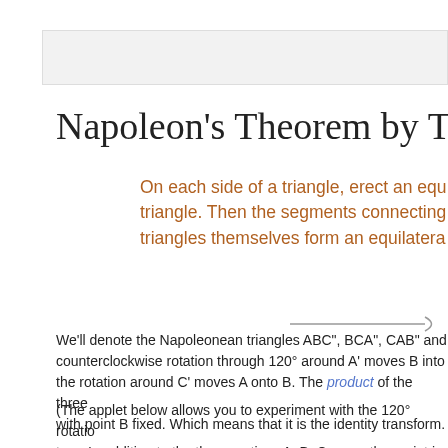[Figure (other): Gray header bar / navigation placeholder area at top of page]
Napoleon's Theorem by T
On each side of a triangle, erect an equilateral triangle. Then the segments connecting the triangles themselves form an equilateral
We'll denote the Napoleonean triangles ABC", BCA", CAB" and counterclockwise rotation through 120° around A' moves B into the rotation around C' moves A onto B. The product of the three with point B fixed. Which means that it is the identity transform.
(The applet below allows you to experiment with the 120° rotation turn. In addition to the three vertices A, B, C, one other point is selected by pressing the A', B', C' buttons, or by popping the fourth point. You can verify the assertion that the sequence